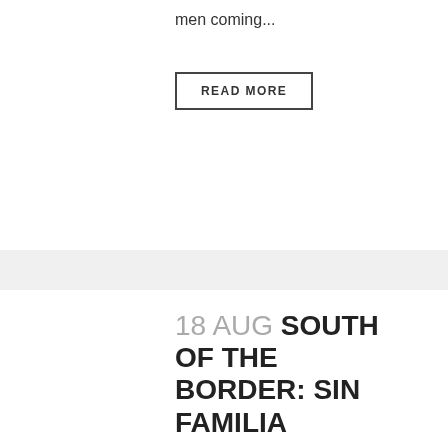men coming...
READ MORE
18 AUG SOUTH OF THE BORDER: SIN FAMILIA
Posted at 17:39h in Uncategorized by sowadmin
On the outskirts of Asunción, Paraguay lies Hogar El Comino, a children's home that branches off of